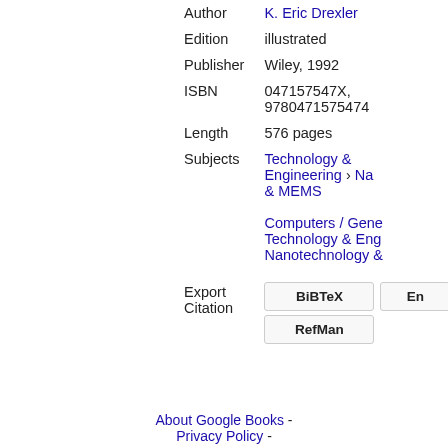| Field | Value |
| --- | --- |
| Author | K. Eric Drexler |
| Edition | illustrated |
| Publisher | Wiley, 1992 |
| ISBN | 047157547X, 9780471575474 |
| Length | 576 pages |
| Subjects | Technology & Engineering › Nanotechnology & MEMS

Computers / General
Technology & Engineering
Nanotechnology & MEMS |
Export Citation
BiBTeX  EndNotes  RefMan
About Google Books - Privacy Policy -